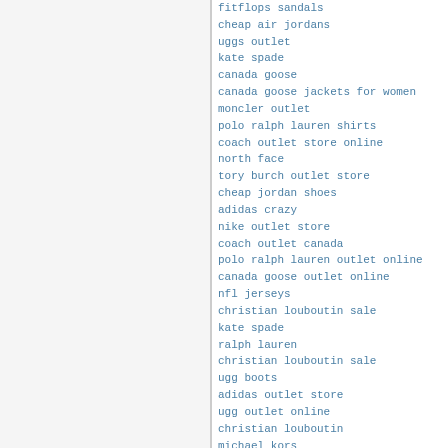fitflops sandals
cheap air jordans
uggs outlet
kate spade
canada goose
canada goose jackets for women
moncler outlet
polo ralph lauren shirts
coach outlet store online
north face
tory burch outlet store
cheap jordan shoes
adidas crazy
nike outlet store
coach outlet canada
polo ralph lauren outlet online
canada goose outlet online
nfl jerseys
christian louboutin sale
kate spade
ralph lauren
christian louboutin sale
ugg boots
adidas outlet store
ugg outlet online
christian louboutin
michael kors
uggs outlet online
cheap jordan shoes
michael kors outlet clearance
ugg boots clearance
longchamp pas cher
michael kors uk
canada goose outlet store
pandora charms outlet
polo ralph lauren outlet online
polo ralph lauren
michael kors outlet clearance
nike outlet
pandora charms sale clearance
christian louboutin sale